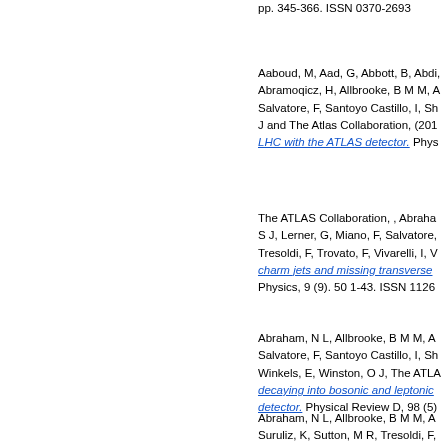pp. 345-366. ISSN 0370-2693
Aaboud, M, Aad, G, Abbott, B, Abdi, Abramoqicz, H, Allbrooke, B M M, A Salvatore, F, Santoyo Castillo, I, Sh J and The Atlas Collaboration, (201 LHC with the ATLAS detector. Phys
The ATLAS Collaboration, , Abraha S J, Lerner, G, Miano, F, Salvatore, Tresoldi, F, Trovato, F, Vivarelli, I, W charm jets and missing transverse Physics, 9 (9). 50 1-43. ISSN 1126
Abraham, N L, Allbrooke, B M M, A Salvatore, F, Santoyo Castillo, I, Sh Winkels, E, Winston, O J, The ATLA decaying into bosonic and leptonic detector. Physical Review D, 98 (5)
Abraham, N L, Allbrooke, B M M, A Suruliz, K, Sutton, M R, Tresoldi, F, and non-prompt J/ψ J/ψ and ψ(2S) collisions with the ATLAS experime 6044